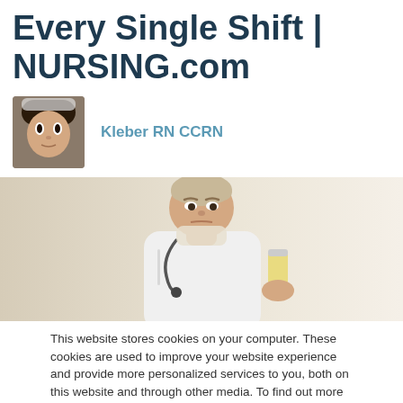Every Single Shift | NURSING.com
[Figure (photo): Small avatar photo of a person's face (author profile image)]
Kleber RN CCRN
[Figure (photo): Hero image of a male nurse or doctor in white coat with stethoscope holding up a specimen/sample container, examining it with a serious expression. Beige/cream background.]
This website stores cookies on your computer. These cookies are used to improve your website experience and provide more personalized services to you, both on this website and through other media. To find out more about the cookies we use,
Over 450,000 Nursing Students Use NURSING.com
Learn Why